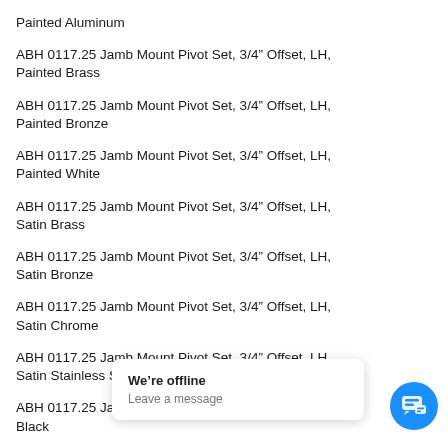Painted Aluminum
ABH 0117.25 Jamb Mount Pivot Set, 3/4” Offset, LH, Painted Brass
ABH 0117.25 Jamb Mount Pivot Set, 3/4” Offset, LH, Painted Bronze
ABH 0117.25 Jamb Mount Pivot Set, 3/4” Offset, LH, Painted White
ABH 0117.25 Jamb Mount Pivot Set, 3/4” Offset, LH, Satin Brass
ABH 0117.25 Jamb Mount Pivot Set, 3/4” Offset, LH, Satin Bronze
ABH 0117.25 Jamb Mount Pivot Set, 3/4” Offset, LH, Satin Chrome
ABH 0117.25 Jamb Mount Pivot Set, 3/4” Offset, LH, Satin Stainless Steel
ABH 0117.25 Jamb Mount Pivot Set, 3/4” Offset, LH, R Black